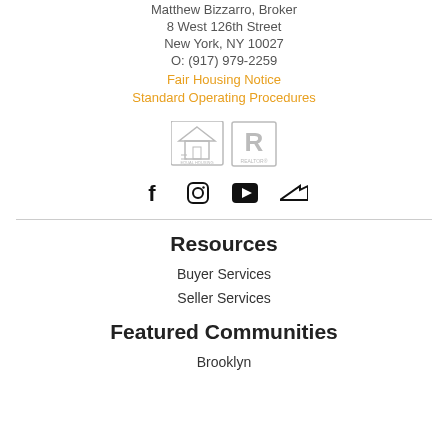Matthew Bizzarro, Broker
8 West 126th Street
New York, NY 10027
O: (917) 979-2259
Fair Housing Notice
Standard Operating Procedures
[Figure (logo): Equal Housing Opportunity and REALTOR logos]
[Figure (illustration): Social media icons: Facebook, Instagram, YouTube, Zillow]
Resources
Buyer Services
Seller Services
Featured Communities
Brooklyn